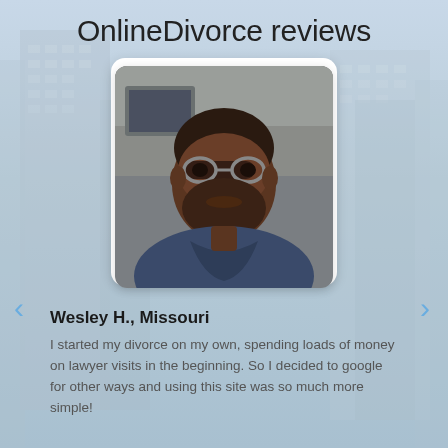OnlineDivorce reviews
[Figure (photo): Portrait photo of Wesley H., a man wearing glasses and a navy blue polo shirt, taking a selfie in what appears to be an office cubicle setting.]
Wesley H., Missouri
I started my divorce on my own, spending loads of money on lawyer visits in the beginning. So I decided to google for other ways and using this site was so much more simple!